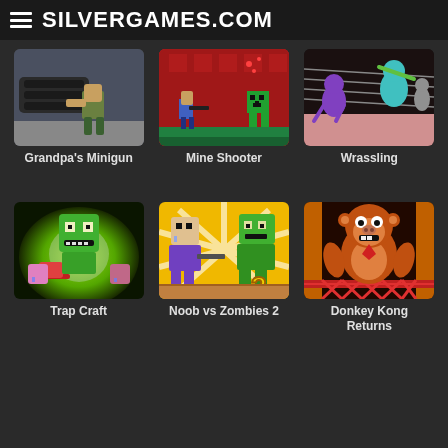SILVERGAMES.COM
[Figure (illustration): Grandpa's Minigun game thumbnail - character holding large minigun weapon]
Grandpa's Minigun
[Figure (illustration): Mine Shooter game thumbnail - pixel art shooter with Minecraft character and creeper]
Mine Shooter
[Figure (illustration): Wrassling game thumbnail - stick figure characters wrestling on a pinkish background]
Wrassling
[Figure (illustration): Trap Craft game thumbnail - Minecraft-style zombie character with green glow]
Trap Craft
[Figure (illustration): Noob vs Zombies 2 game thumbnail - noob character fighting zombies with yellow sunburst background]
Noob vs Zombies 2
[Figure (illustration): Donkey Kong Returns game thumbnail - Donkey Kong character on red/dark background]
Donkey Kong Returns